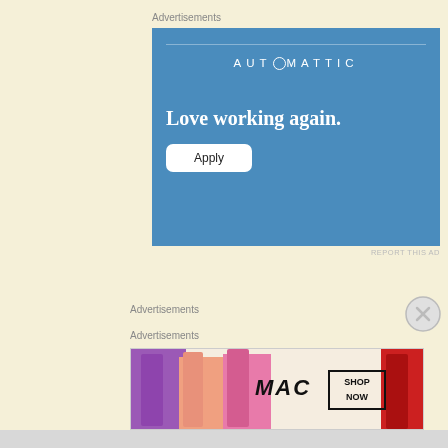Advertisements
[Figure (illustration): Automattic job advertisement banner with blue background. Shows 'AUTOMATTIC' logo in spaced letters, tagline 'Love working again.' in white serif font, and a white 'Apply' button.]
REPORT THIS AD
Advertisements
[Figure (illustration): Close/dismiss button circle with X symbol]
Advertisements
[Figure (illustration): MAC cosmetics advertisement banner showing colorful lipstick tubes on left side, MAC logo in italic, and 'SHOP NOW' box on right side.]
REPORT THIS AD